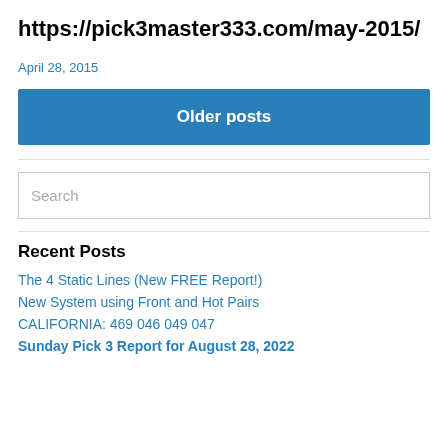https://pick3master333.com/may-2015/
April 28, 2015
Older posts
Search
Recent Posts
The 4 Static Lines (New FREE Report!)
New System using Front and Hot Pairs
CALIFORNIA: 469 046 049 047
Sunday Pick 3 Report for August 28, 2022